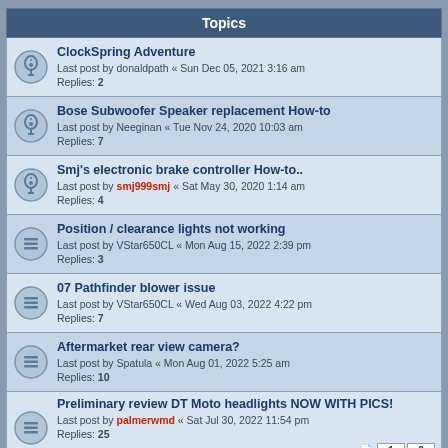Topics
ClockSpring Adventure
Last post by donaldpath « Sun Dec 05, 2021 3:16 am
Replies: 2
Bose Subwoofer Speaker replacement How-to
Last post by Neeginan « Tue Nov 24, 2020 10:03 am
Replies: 7
Smj's electronic brake controller How-to..
Last post by smj999smj « Sat May 30, 2020 1:14 am
Replies: 4
Position / clearance lights not working
Last post by VStar650CL « Mon Aug 15, 2022 2:39 pm
Replies: 3
07 Pathfinder blower issue
Last post by VStar650CL « Wed Aug 03, 2022 4:22 pm
Replies: 7
Aftermarket rear view camera?
Last post by Spatula « Mon Aug 01, 2022 5:25 am
Replies: 10
Preliminary review DT Moto headlights NOW WITH PICS!
Last post by palmerwmd « Sat Jul 30, 2022 11:54 pm
Replies: 25
Need new key fob
Last post by Limey « Tue Jul 26, 2022 10:14 am
Replies: 18
Cruise "SET" light flashing
Last post by VStar650CL « Mon Jul 25, 2022 5:22 am